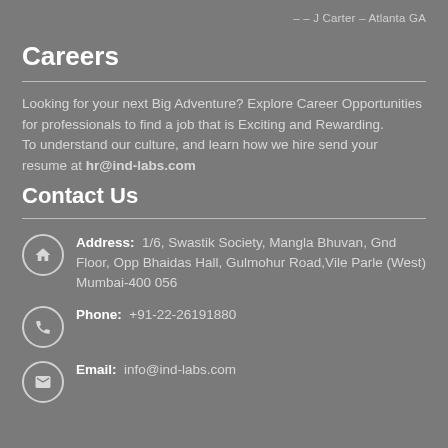– – J Carter – Atlanta GA
Careers
Looking for your next Big Adventure? Explore Career Opportunities for professionals to find a job that is Exciting and Rewarding.
To understand our culture, and learn how we hire send your resume at hr@ind-labs.com
Contact Us
Address: 1/6, Swastik Society, Mangla Bhuvan, Gnd Floor, Opp Bhaidas Hall, Gulmohur Road,Vile Parle (West) Mumbai-400 056
Phone: +91-22-26191880
Email: info@ind-labs.com